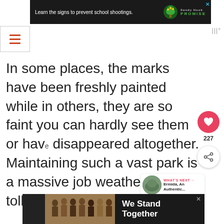[Figure (screenshot): Top advertisement banner for Sandy Hook Promise: 'Learn the signs to prevent school shootings.' with tree logo on dark background]
[Figure (screenshot): Hamburger menu icon (three horizontal orange lines) in a bordered box, and a wordmark 'III°' top right]
In some places, the marks have been freshly painted while in others, they are so faint you can hardly see them or have disappeared altogether. Maintaining such a vast park is a massive job weather takes its toll.
[Figure (screenshot): Floating UI elements: heart/like button with count 227, share button, and 'What's Next' card showing 'Ermida, An Authentic...']
[Figure (screenshot): Bottom advertisement banner: 'We Stand Together' with group of people photo on dark background]